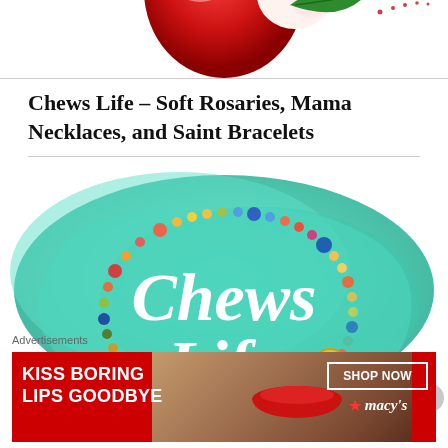[Figure (illustration): Partial view of a red apple illustration with green leaf, pink and white highlights, shown at top of page]
Chews Life – Soft Rosaries, Mama Necklaces, and Saint Bracelets
[Figure (logo): Chews Life logo: teal/mint watercolor background with colorful beaded rosary necklace forming a circle, white script text reading 'Chews Life' in the center]
Advertisements
[Figure (photo): Advertisement banner: red background with white bold text 'KISS BORING LIPS GOODBYE', photo of woman's face with red lips center, right side shows 'SHOP NOW' button and Macy's star logo on white box]